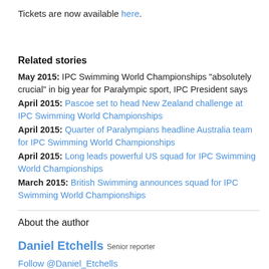Tickets are now available here.
Related stories
May 2015: IPC Swimming World Championships "absolutely crucial" in big year for Paralympic sport, IPC President says
April 2015: Pascoe set to head New Zealand challenge at IPC Swimming World Championships
April 2015: Quarter of Paralympians headline Australia team for IPC Swimming World Championships
April 2015: Long leads powerful US squad for IPC Swimming World Championships
March 2015: British Swimming announces squad for IPC Swimming World Championships
About the author
Daniel Etchells Senior reporter
Follow @Daniel_Etchells